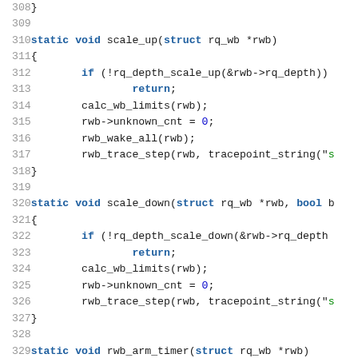Source code listing lines 308-329 showing scale_up, scale_down, and rwb_arm_timer C functions
308     }
309
310     static void scale_up(struct rq_wb *rwb)
311     {
312             if (!rq_depth_scale_up(&rwb->rq_depth))
313                     return;
314             calc_wb_limits(rwb);
315             rwb->unknown_cnt = 0;
316             rwb_wake_all(rwb);
317             rwb_trace_step(rwb, tracepoint_string("s
318     }
319
320     static void scale_down(struct rq_wb *rwb, bool b
321     {
322             if (!rq_depth_scale_down(&rwb->rq_depth
323                     return;
324             calc_wb_limits(rwb);
325             rwb->unknown_cnt = 0;
326             rwb_trace_step(rwb, tracepoint_string("s
327     }
328
329     static void rwb_arm_timer(struct rq_wb *rwb)